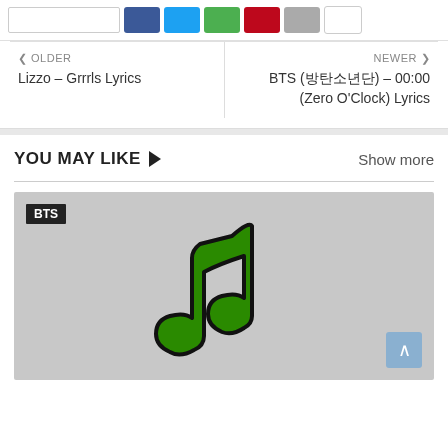[Figure (screenshot): Share bar with input and colored social share buttons (Facebook blue, Twitter cyan, green, red, grey, white)]
< OLDER
Lizzo – Grrrls Lyrics
NEWER >
BTS (방탄소년단) – 00:00 (Zero O'Clock) Lyrics
YOU MAY LIKE ▶
Show more
[Figure (illustration): Gray card with BTS label tag and a green music note illustration in the center, with a blue back-to-top arrow button at bottom right]